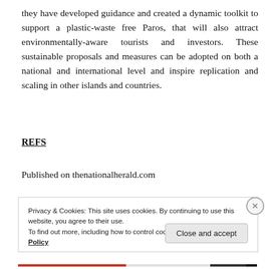they have developed guidance and created a dynamic toolkit to support a plastic-waste free Paros, that will also attract environmentally-aware tourists and investors. These sustainable proposals and measures can be adopted on both a national and international level and inspire replication and scaling in other islands and countries.
REFS
Published on thenationalherald.com
Privacy & Cookies: This site uses cookies. By continuing to use this website, you agree to their use.
To find out more, including how to control cookies, see here: Cookie Policy
Close and accept